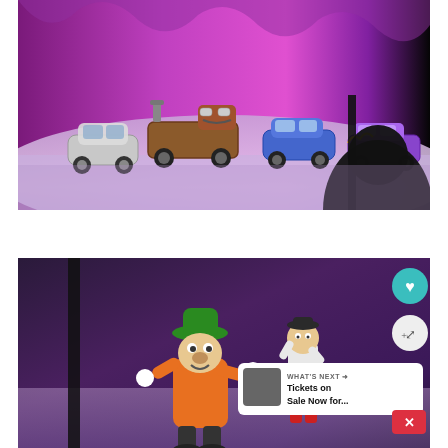[Figure (photo): Disney On Ice show featuring Cars characters (Mater, Sally, and other cars) on an ice rink with a pink/purple backdrop. A silhouette of an audience member is visible in the foreground lower right.]
[Figure (photo): Disney On Ice show featuring Goofy in an orange costume with a green hat performing on ice, with Max (Goofy's son) visible in background wearing red pants. Social media UI overlays visible: heart/favorite button, share button, a 'WHAT'S NEXT' card reading 'Tickets on Sale Now for...' and a red close button.]